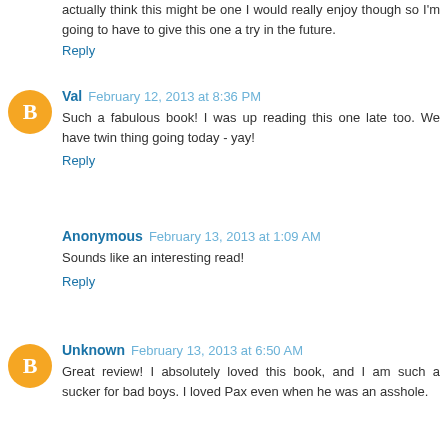actually think this might be one I would really enjoy though so I'm going to have to give this one a try in the future.
Reply
Val  February 12, 2013 at 8:36 PM
Such a fabulous book! I was up reading this one late too. We have twin thing going today - yay!
Reply
Anonymous  February 13, 2013 at 1:09 AM
Sounds like an interesting read!
Reply
Unknown  February 13, 2013 at 6:50 AM
Great review! I absolutely loved this book, and I am such a sucker for bad boys. I loved Pax even when he was an asshole.